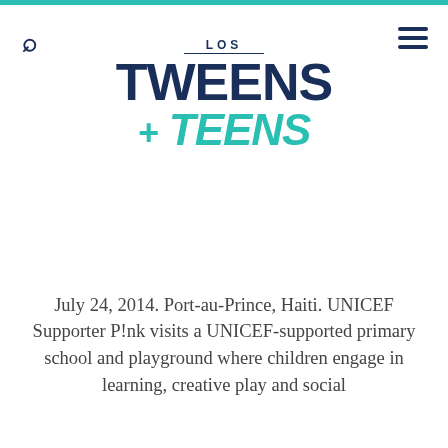Los Tweens + Teens
July 24, 2014. Port-au-Prince, Haiti. UNICEF Supporter P!nk visits a UNICEF-supported primary school and playground where children engage in learning, creative play and social